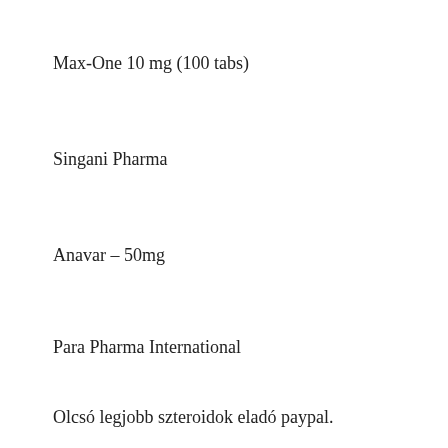Max-One 10 mg (100 tabs)
Singani Pharma
Anavar – 50mg
Para Pharma International
Olcsó legjobb szteroidok eladó paypal.